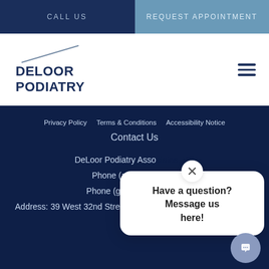CALL US | REQUEST APPOINTMENT
[Figure (logo): DeLoor Podiatry logo with diagonal slash above text DELOOR PODIATRY]
Privacy Policy   Terms & Conditions   Accessibility Notice
Contact Us
DeLoor Podiatry Asso...
Phone (appointmen...
Phone (general inqu...
Address: 39 West 32nd Street, Suite 1200, New York, NY 10001
[Figure (screenshot): Chat popup bubble with close X button and text: Have a question? Message us here!]